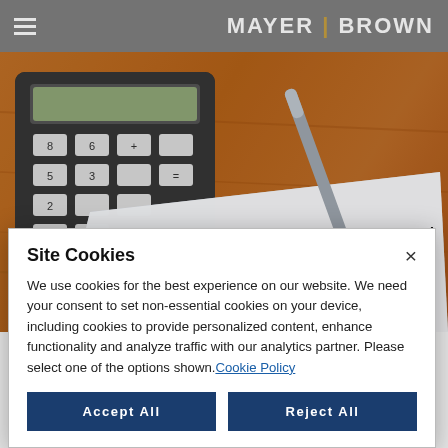MAYER | BROWN
[Figure (photo): Photo of a calculator, pen, and an Earnings Statement document on a wooden desk]
Site Cookies
We use cookies for the best experience on our website. We need your consent to set non-essential cookies on your device, including cookies to provide personalized content, enhance functionality and analyze traffic with our analytics partner. Please select one of the options shown. Cookie Policy
Accept All
Reject All